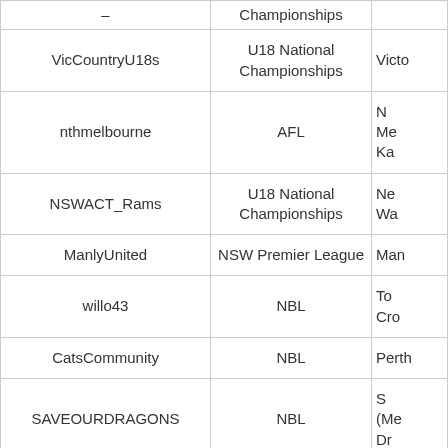| Username | Competition | Team (truncated) |
| --- | --- | --- |
| – | Championships | … |
| VicCountryU18s | U18 National Championships | Victo… |
| nthmelbourne | AFL | N Me Ka… |
| NSWACT_Rams | U18 National Championships | New Wal… |
| ManlyUnited | NSW Premier League | Man… |
| willo43 | NBL | Tow Cro… |
| CatsCommunity | NBL | Perth… |
| SAVEOURDRAGONS | NBL | S (Me Dr… |
| Cats_Media | NBL | Perth… |